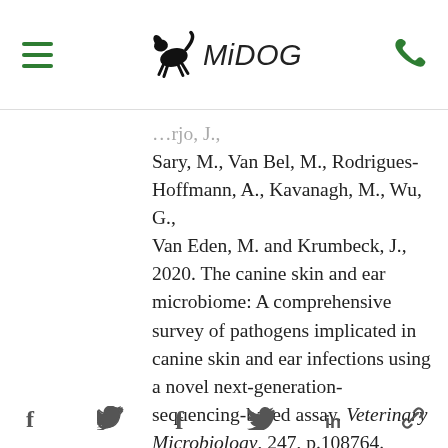MiDOG [navigation bar with hamburger menu and phone icon]
...rjo, J., Sary, M., Van Bel, M., Rodrigues-Hoffmann, A., Kavanagh, M., Wu, G., Van Eden, M. and Krumbeck, J., 2020. The canine skin and ear microbiome: A comprehensive survey of pathogens implicated in canine skin and ear infections using a novel next-generation-sequencing-based assay. Veterinary Microbiology, 247, p.108764.
[social share icons: Facebook, Twitter, LinkedIn, Link]